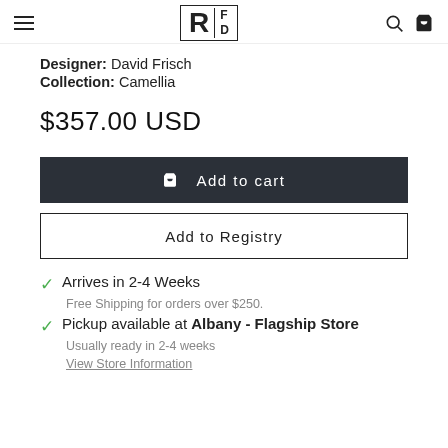RFD logo with hamburger menu, search, and cart icons
Designer: David Frisch
Collection: Camellia
$357.00 USD
Add to cart
Add to Registry
Arrives in 2-4 Weeks
Free Shipping for orders over $250.
Pickup available at Albany - Flagship Store
Usually ready in 2-4 weeks
View Store Information